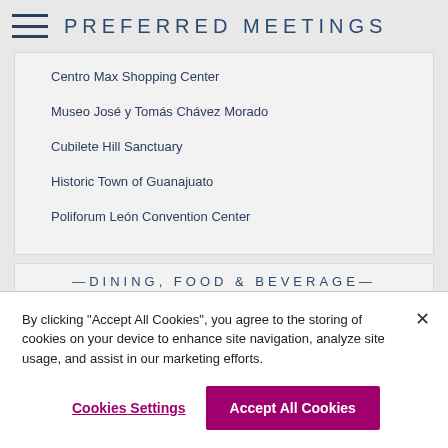PREFERRED MEETINGS
Centro Max Shopping Center
Museo José y Tomás Chávez Morado
Cubilete Hill Sanctuary
Historic Town of Guanajuato
Poliforum León Convention Center
—DINING, FOOD & BEVERAGE—
Onsite Dining: Capacity    F&B Averages:
By clicking "Accept All Cookies", you agree to the storing of cookies on your device to enhance site navigation, analyze site usage, and assist in our marketing efforts.
Cookies Settings
Accept All Cookies